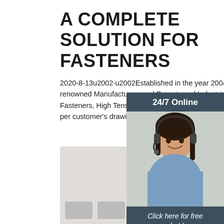A COMPLETE SOLUTION FOR FASTENERS
2020-8-13u2002·u2002Established in the year 2004, Ganpati Precision Fasteners is a renowned Manufacturers and Exporters of Industrial Fasteners, Hot-Dip Galvanized Fasteners, High Tensile Fasteners, Strut Channel Components & Special Fasteners as per customer's drawings.
[Figure (illustration): 24/7 Online chat widget with a customer service representative wearing a headset, with a 'Click here for free chat!' message and a QUOTATION button]
Get Price
[Figure (photo): Bottom image area showing industrial fasteners products, partially cropped]